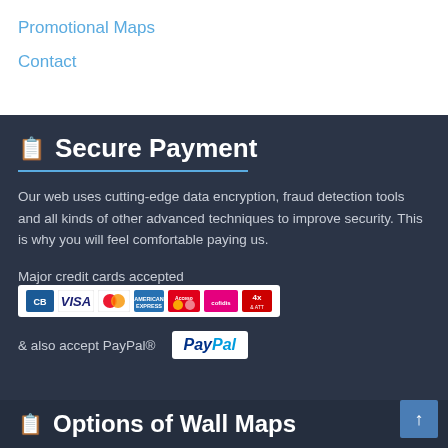Promotional Maps
Contact
Secure Payment
Our web uses cutting-edge data encryption, fraud detection tools and all kinds of other advanced techniques to improve security. This is why you will feel comfortable paying us.
Major credit cards accepted
[Figure (logo): Row of credit card logos: CB, VISA, MasterCard, American Express, Maestro, Cofidis, 4x]
& also accept PayPal®
[Figure (logo): PayPal logo with blue and light-blue text on white background]
Options of Wall Maps